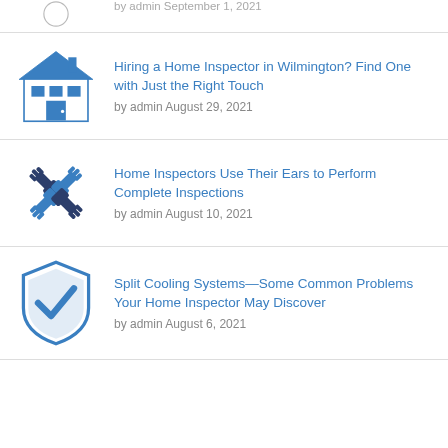[Figure (illustration): Partial circle icon at top of page, cropped]
by admin September 1, 2021 (partial, cropped)
[Figure (illustration): Blue house icon with windows and door]
Hiring a Home Inspector in Wilmington? Find One with Just the Right Touch
by admin August 29, 2021
[Figure (illustration): Four hands icon in dark navy and blue, representing teamwork/collaboration]
Home Inspectors Use Their Ears to Perform Complete Inspections
by admin August 10, 2021
[Figure (illustration): Shield with checkmark icon in blue outline and blue fill]
Split Cooling Systems—Some Common Problems Your Home Inspector May Discover
by admin August 6, 2021